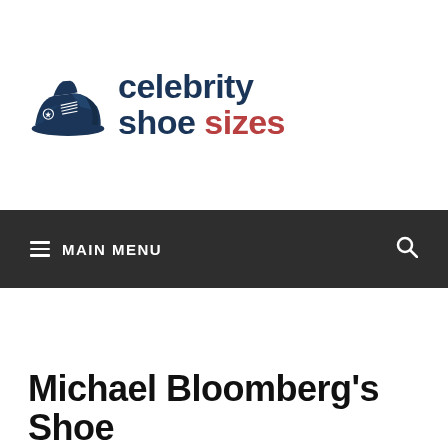[Figure (logo): Celebrity Shoe Sizes website logo: dark navy blue high-top sneaker illustration next to bold text reading 'celebrity shoe sizes' with 'celebrity' and 'shoe' in dark navy and 'sizes' in red/crimson]
≡ MAIN MENU
Michael Bloomberg's Shoe